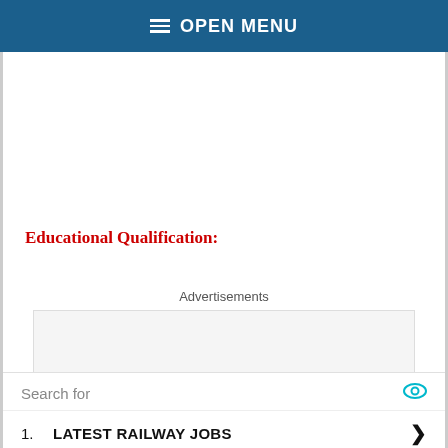OPEN MENU
Educational Qualification:
Advertisements
1. LATEST RAILWAY JOBS
2. APPLY FOR RAILWAY JOBS